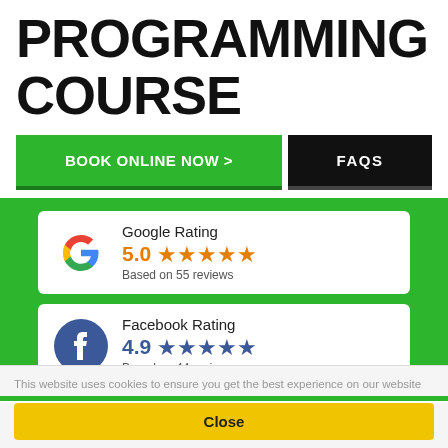PROGRAMMING COURSE
BOOK ONLINE NOW >
FAQS
[Figure (infographic): Google Rating card showing 5.0 stars based on 55 reviews, with Google G logo]
[Figure (infographic): Facebook Rating card showing 4.9 stars based on 44 reviews, with Facebook logo]
This website uses cookies to ensure you get the best experience on our website
Close